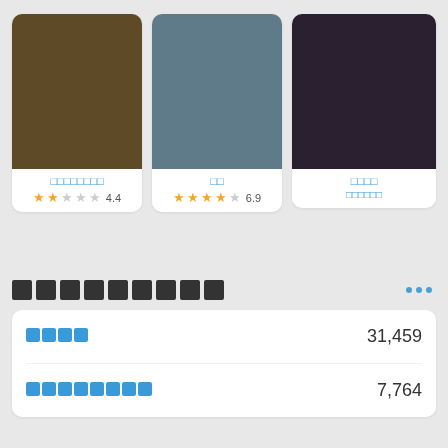[Figure (illustration): Card with brown/olive colored rectangle image]
□□□□□□□□
★★☆☆☆ 4.4
[Figure (illustration): Card with slate/blue-grey colored rectangle image]
□□
★★★★☆ 6.9
[Figure (illustration): Card with dark navy/purple colored rectangle image]
□□□□
□□□□□□
□□□□□□□□□
|  |  |
| --- | --- |
| □□□□ | 31,459 |
| □□□□□□□□ | 7,764 |